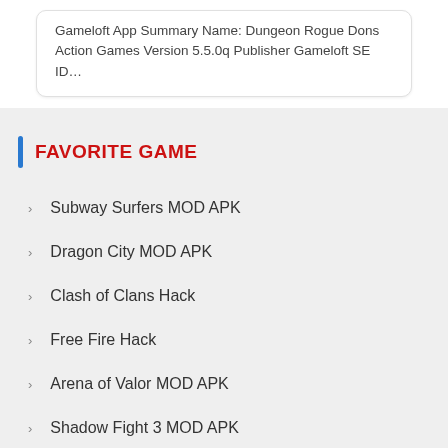Gameloft App Summary Name: Dungeon Rogue Dons Action Games Version 5.5.0q Publisher Gameloft SE ID…
FAVORITE GAME
Subway Surfers MOD APK
Dragon City MOD APK
Clash of Clans Hack
Free Fire Hack
Arena of Valor MOD APK
Shadow Fight 3 MOD APK
The Battle Cats MOD APK